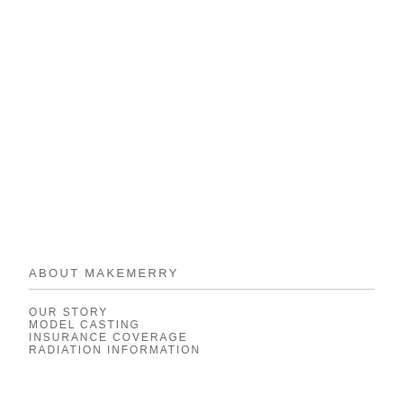ABOUT MAKEMERRY
OUR STORY
MODEL CASTING
INSURANCE COVERAGE
RADIATION INFORMATION